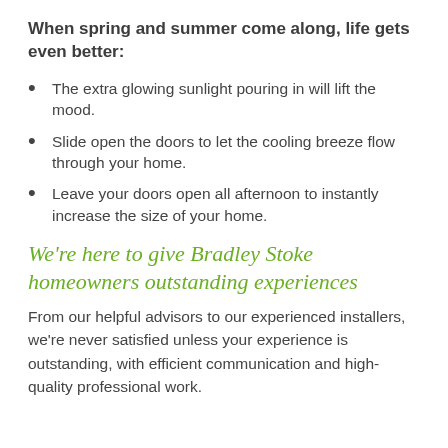When spring and summer come along, life gets even better:
The extra glowing sunlight pouring in will lift the mood.
Slide open the doors to let the cooling breeze flow through your home.
Leave your doors open all afternoon to instantly increase the size of your home.
We're here to give Bradley Stoke homeowners outstanding experiences
From our helpful advisors to our experienced installers, we're never satisfied unless your experience is outstanding, with efficient communication and high-quality professional work.